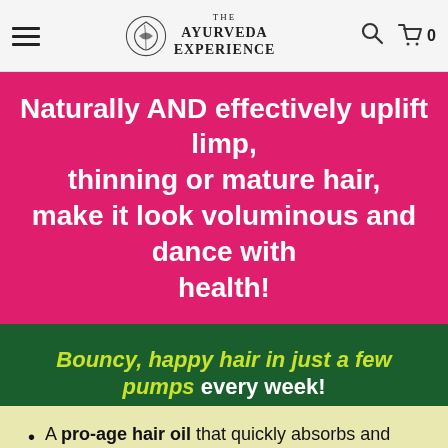The Ayurveda Experience
Naturally AND effectively uplift limp, thinning or mature hair, make it look voluminous and dance with health!
Bouncy, happy hair in just a few pumps every week!
A pro-age hair oil that quickly absorbs and restores hair to its bouncy, luscious self after the